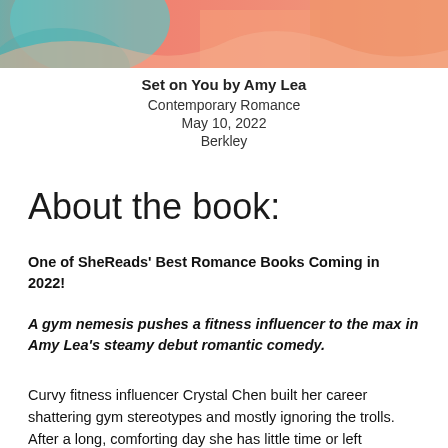[Figure (illustration): Top portion of a book cover for 'Set on You' by Amy Lea, showing a colorful illustrated design with coral/orange and teal colors, partial view of a figure]
Set on You by Amy Lea
Contemporary Romance
May 10, 2022
Berkley
About the book:
One of SheReads' Best Romance Books Coming in 2022!
A gym nemesis pushes a fitness influencer to the max in Amy Lea's steamy debut romantic comedy.
Curvy fitness influencer Crystal Chen built her career shattering gym stereotypes and mostly ignoring the trolls. After a long, comforting day, she has little time or left